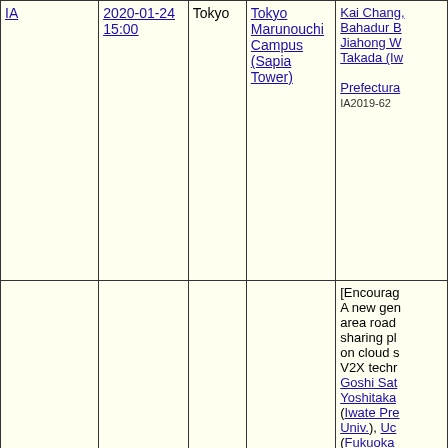| Category | Date/Time | Location | Venue | Details |
| --- | --- | --- | --- | --- |
| IA | 2020-01-24 15:00 | Tokyo | Tokyo Marunouchi Campus (Sapia Tower) | Kai Chang, Bahadur B, Jiahong W, Takada (Iw... Prefectura... IA2019-62 |
| NS, RCS (Joint) | 2019-12-19 09:40 | Tokushima | Tokushima Univ. | [Encourag... A new ger area road sharing pl on cloud s V2X techr Goshi Sat Yoshitaka (Iwate Pre Univ.), Uc (Fukuoka Tech.) |
| NS, ICM, CQ, NV (Joint) | 2019-11-21 09:55 | Hyogo | Rokkodai 2nd Campus, Kobedai... | Investigati influence o performan position of node on M Atuya Mis |